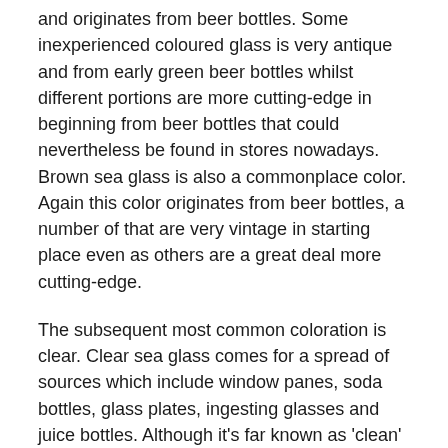and originates from beer bottles. Some inexperienced coloured glass is very antique and from early green beer bottles whilst different portions are more cutting-edge in beginning from beer bottles that could nevertheless be found in stores nowadays. Brown sea glass is also a commonplace color. Again this color originates from beer bottles, a number of that are very vintage in starting place even as others are a great deal more cutting-edge.
The subsequent most common coloration is clear. Clear sea glass comes for a spread of sources which include window panes, soda bottles, glass plates, ingesting glasses and juice bottles. Although it's far known as 'clean' you simply can't see through it due to the frosted appearance of the glass. This is because of the impact exposure to salt water has at the chemical substances used to provide the glass inside the first region.